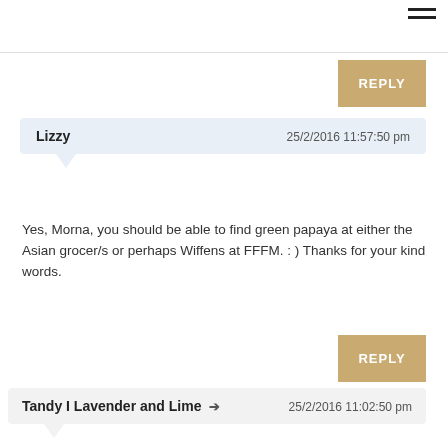[Figure (other): Hamburger menu icon (three horizontal lines) in the top right corner]
REPLY
Lizzy   25/2/2016 11:57:50 pm
Yes, Morna, you should be able to find green papaya at either the Asian grocer/s or perhaps Wiffens at FFFM. : ) Thanks for your kind words.
REPLY
Tandy I Lavender and Lime → 25/2/2016 11:02:50 pm
I've never tried this salad before but looking at the ingredients I'm sure I would enjoy it. I'm looking forward to cooler nights as it's been very warm here 😊